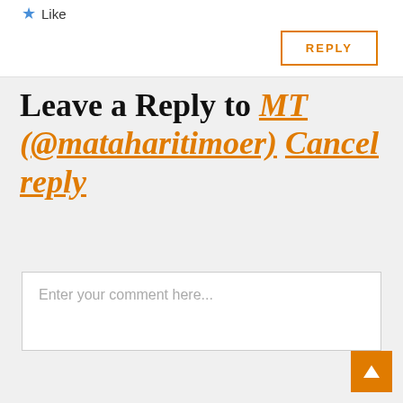★ Like
REPLY
Leave a Reply to MT (@mataharitimoer) Cancel reply
Enter your comment here...